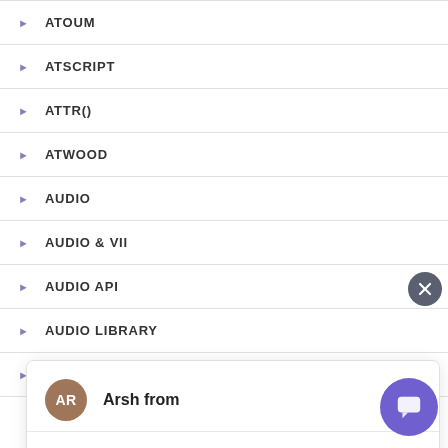ATOUM
ATSCRIPT
ATTR()
ATWOOD
AUDIO
AUDIO & VI...
AUDIO API
AUDIO LIBRARY
AUGARY
[Figure (screenshot): Chat widget overlay showing avatar 'AR' for 'Arsh from', message 'Hi, How can I help you?', a text input area with placeholder 'Type your message', a close button (X), and a purple chat launcher button at bottom right.]